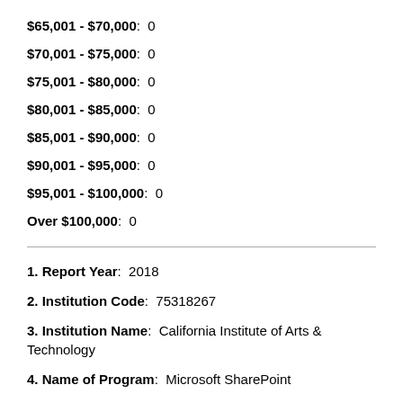$65,001 - $70,000:  0
$70,001 - $75,000:  0
$75,001 - $80,000:  0
$80,001 - $85,000:  0
$85,001 - $90,000:  0
$90,001 - $95,000:  0
$95,001 - $100,000:  0
Over $100,000:  0
1. Report Year:  2018
2. Institution Code:  75318267
3. Institution Name:  California Institute of Arts & Technology
4. Name of Program:  Microsoft SharePoint